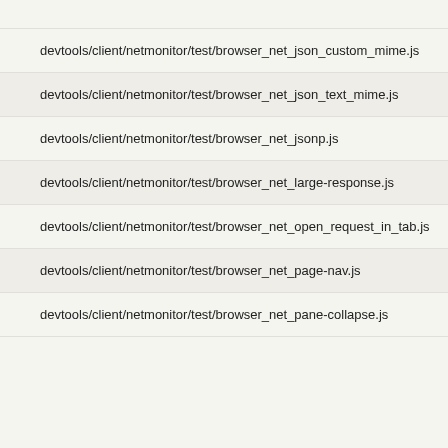devtools/client/netmonitor/test/browser_net_json_custom_mime.js
devtools/client/netmonitor/test/browser_net_json_text_mime.js
devtools/client/netmonitor/test/browser_net_jsonp.js
devtools/client/netmonitor/test/browser_net_large-response.js
devtools/client/netmonitor/test/browser_net_open_request_in_tab.js
devtools/client/netmonitor/test/browser_net_page-nav.js
devtools/client/netmonitor/test/browser_net_pane-collapse.js